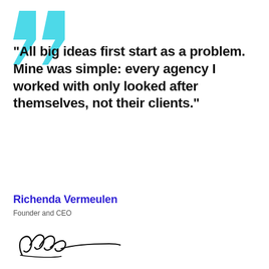[Figure (illustration): Large decorative teal/cyan quotation marks in the upper left corner]
“All big ideas first start as a problem. Mine was simple: every agency I worked with only looked after themselves, not their clients.”
Richenda Vermeulen
Founder and CEO
[Figure (illustration): Handwritten signature of Richenda Vermeulen]